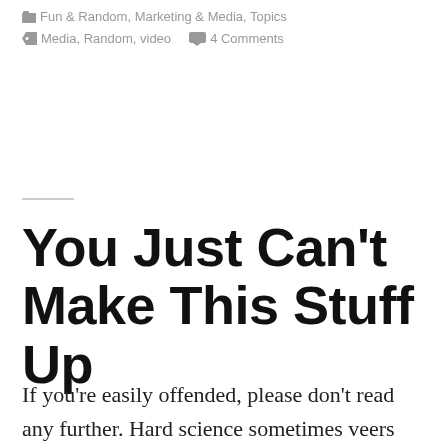Fun & Random, Marketing & Media, Topics
Media, Random, video   4 Comments
You Just Can't Make This Stuff Up
If you're easily offended, please don't read any further. Hard science sometimes veers